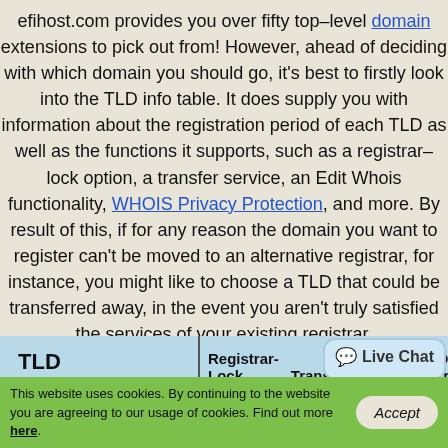efihost.com provides you over fifty top–level domain extensions to pick out from! However, ahead of deciding with which domain you should go, it's best to firstly look into the TLD info table. It does supply you with information about the registration period of each TLD as well as the functions it supports, such as a registrar–lock option, a transfer service, an Edit Whois functionality, WHOIS Privacy Protection, and more. By result of this, if for any reason the domain you want to register can't be moved to an alternative registrar, for instance, you might like to choose a TLD that could be transferred away, in the event you aren't truly satisfied the services of your existing registrar.
| TLD | Registrar-Lock | Transfers | Edit WHOIS | ID Protection |
| --- | --- | --- | --- | --- |
This website uses cookies. By continuing to the website you are agreeing to our usage of cookies. Find out more here.